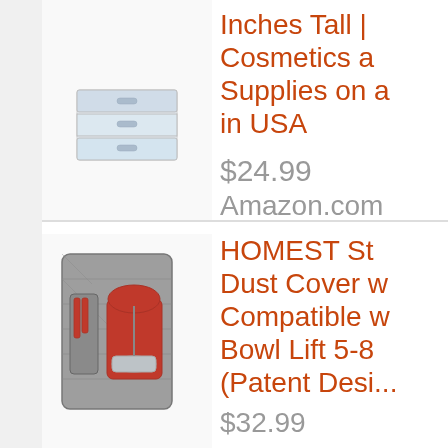[Figure (photo): Product image of a clear acrylic organizer/drawer]
Inches Tall | Cosmetics and Supplies on a... in USA
$24.99
Amazon.com
[Figure (photo): Product image of a grey quilted dust cover for stand mixer with red KitchenAid mixer visible inside]
HOMEST Stand Mixer Dust Cover with Pockets, Compatible with Bowl Lift 5-8 Qt (Patent Design)
$32.99